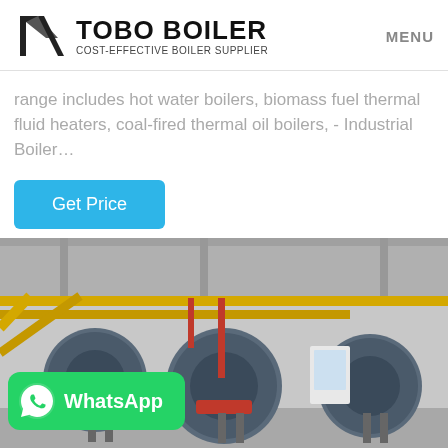TOBO BOILER — COST-EFFECTIVE BOILER SUPPLIER — MENU
range includes hot water boilers, biomass fuel thermal fluid heaters, coal-fired thermal oil boilers, - Industrial Boiler…
Get Price
[Figure (photo): Industrial boiler room with multiple large cylindrical gas/oil-fired boilers connected by yellow pipes and various fittings, with a WhatsApp contact badge overlaid in the bottom-left corner.]